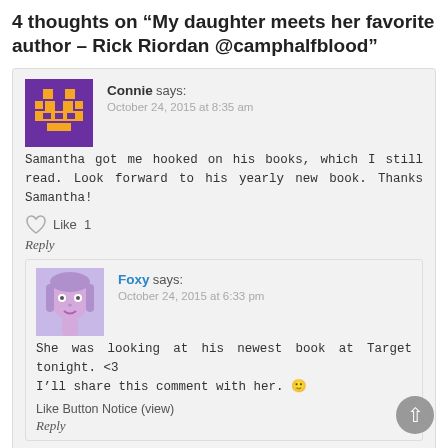4 thoughts on “My daughter meets her favorite author – Rick Riordan @camphalfblood”
Connie says: October 24, 2015 at 8:35 am
Samantha got me hooked on his books, which I still read. Look forward to his yearly new book. Thanks Samantha!
Like 1
Reply
Foxy says: October 24, 2015 at 6:33 pm
She was looking at his newest book at Target tonight. <3
I’ll share this comment with her. 🙂
Like Button Notice (view)
Reply